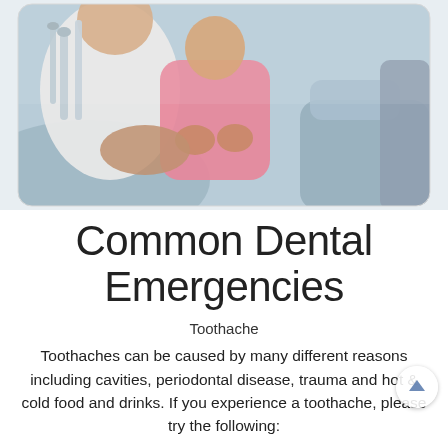[Figure (photo): A dentist in a white coat and pink scrubs attending to a child patient sitting in a dental chair. Dental equipment is visible in the foreground. The child appears to be in a clinical dental setting.]
Common Dental Emergencies
Toothache
Toothaches can be caused by many different reasons including cavities, periodontal disease, trauma and hot & cold food and drinks. If you experience a toothache, please try the following: